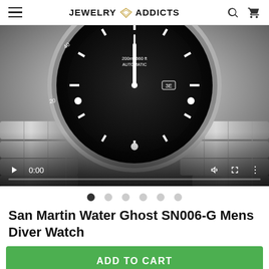JEWELRY ADDICTS
[Figure (screenshot): Close-up photo of a San Martin Water Ghost SN006-G diver watch with black bezel and stainless steel bracelet, shown in a video player with controls: play button, timestamp 0:00, volume icon, fullscreen icon, and more options icon, plus a progress bar.]
● ○ ○ ○ ○ ○
San Martin Water Ghost SN006-G Mens Diver Watch
ADD TO CART